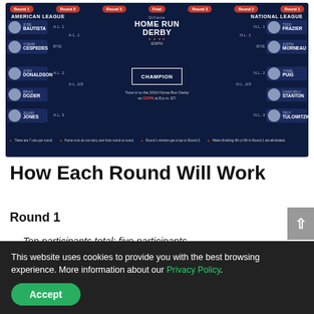[Figure (infographic): Gillette Home Run Derby bracket showing American League vs National League matchups with players: Jose Bautista, Yoenis Cespedes, Josh Donaldson, Brian Dozier, Julian Jones (AL); Todd Frazier, Justin Morneau, Yasiel Puig, Giancarlo Stanton, Troy Tulowitzki (NL). Champion box in center. Tune in ESPN 8pm ET text. Round labels at top.]
How Each Round Will Work
Round 1
- Ten participants total; five participants
This website uses cookies to provide you with the best browsing experience. More information about our Privacy Policy.